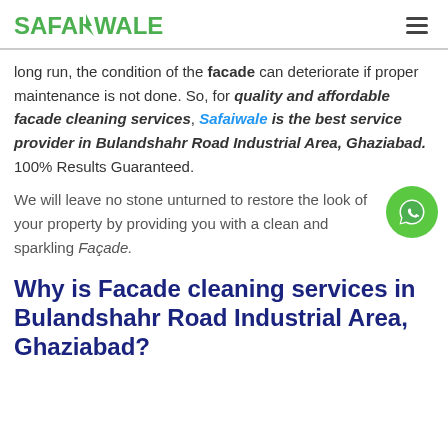SAFAIWALE
long run, the condition of the facade can deteriorate if proper maintenance is not done. So, for quality and affordable facade cleaning services, Safaiwale is the best service provider in Bulandshahr Road Industrial Area, Ghaziabad. 100% Results Guaranteed.
We will leave no stone unturned to restore the look of your property by providing you with a clean and sparkling Façade.
Why is Facade cleaning services in Bulandshahr Road Industrial Area, Ghaziabad?